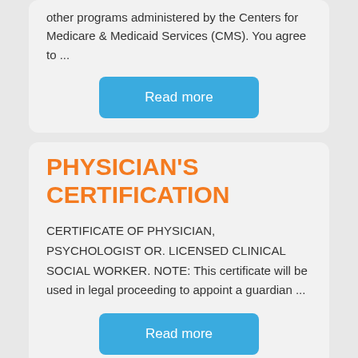other programs administered by the Centers for Medicare & Medicaid Services (CMS). You agree to ...
Read more
PHYSICIAN'S CERTIFICATION
CERTIFICATE OF PHYSICIAN, PSYCHOLOGIST OR. LICENSED CLINICAL SOCIAL WORKER. NOTE: This certificate will be used in legal proceeding to appoint a guardian ...
Read more